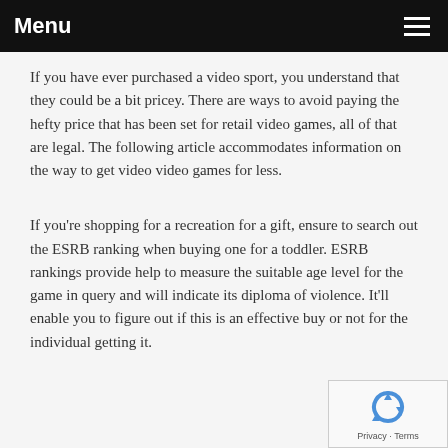Menu
If you have ever purchased a video sport, you understand that they could be a bit pricey. There are ways to avoid paying the hefty price that has been set for retail video games, all of that are legal. The following article accommodates information on the way to get video video games for less.
If you're shopping for a recreation for a gift, ensure to search out the ESRB ranking when buying one for a toddler. ESRB rankings provide help to measure the suitable age level for the game in query and will indicate its diploma of violence. It'll enable you to figure out if this is an effective buy or not for the individual getting it.
[Figure (other): reCAPTCHA widget with blue recycling arrows icon and Privacy - Terms text]